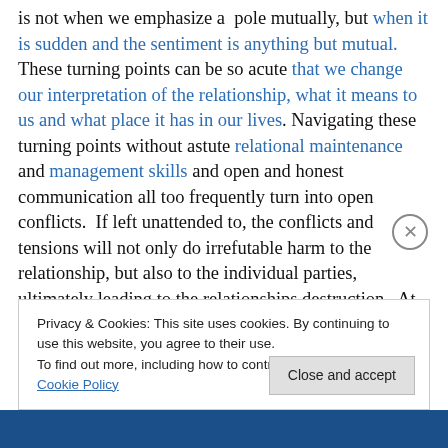is not when we emphasize a pole mutually, but when it is sudden and the sentiment is anything but mutual. These turning points can be so acute that we change our interpretation of the relationship, what it means to us and what place it has in our lives. Navigating these turning points without astute relational maintenance and management skills and open and honest communication all too frequently turn into open conflicts. If left unattended to, the conflicts and tensions will not only do irrefutable harm to the relationship, but also to the individual parties, ultimately leading to the relationships destruction. At this
Privacy & Cookies: This site uses cookies. By continuing to use this website, you agree to their use.
To find out more, including how to control cookies, see here: Cookie Policy
Close and accept